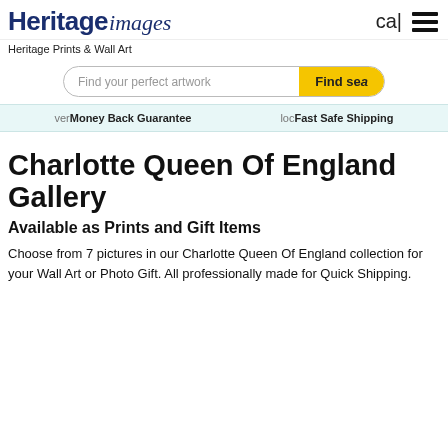Heritage images | cal | menu
Heritage Prints & Wall Art
[Figure (screenshot): Search bar with placeholder 'Find your perfect artwork' and yellow 'Find sea' button]
ver Money Back Guarantee    loc Fast Safe Shipping
Charlotte Queen Of England Gallery
Available as Prints and Gift Items
Choose from 7 pictures in our Charlotte Queen Of England collection for your Wall Art or Photo Gift. All professionally made for Quick Shipping.